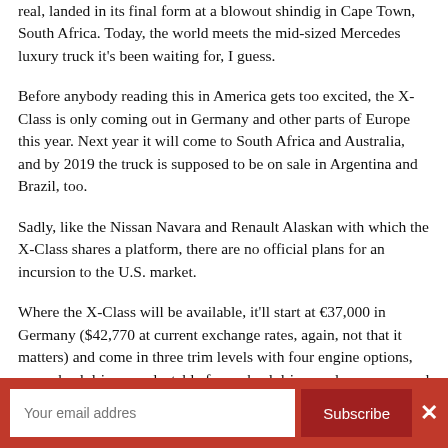real, landed in its final form at a blowout shindig in Cape Town, South Africa. Today, the world meets the mid-sized Mercedes luxury truck it's been waiting for, I guess.
Before anybody reading this in America gets too excited, the X-Class is only coming out in Germany and other parts of Europe this year. Next year it will come to South Africa and Australia, and by 2019 the truck is supposed to be on sale in Argentina and Brazil, too.
Sadly, like the Nissan Navara and Renault Alaskan with which the X-Class shares a platform, there are no official plans for an incursion to the U.S. market.
Where the X-Class will be available, it'll start at €37,000 in Germany ($42,770 at current exchange rates, again, not that it matters) and come in three trim levels with four engine options, rear-wheel drive or selectable four-wheel drive, and a seven-speed automatic or six-speed manual.